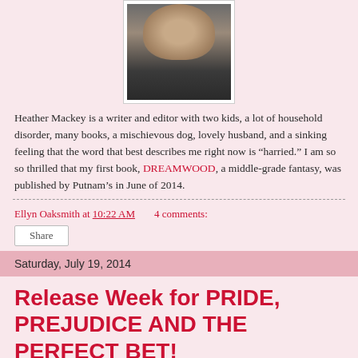[Figure (photo): Portrait photo of Heather Mackey, woman with dark hair wearing a dark top, displayed in a white-bordered frame]
Heather Mackey is a writer and editor with two kids, a lot of household disorder, many books, a mischievous dog, lovely husband, and a sinking feeling that the word that best describes me right now is “harried.” I am so so thrilled that my first book, DREAMWOOD, a middle-grade fantasy, was published by Putnam’s in June of 2014.
Ellyn Oaksmith at 10:22 AM    4 comments:
Share
Saturday, July 19, 2014
Release Week for PRIDE, PREJUDICE AND THE PERFECT BET!
[Figure (photo): Book cover image for Pride, Prejudice and the Perfect Bet with text LIFE'S BIGGEST GAMBLE IS THE GAME OF LOVE and two people visible at the bottom]